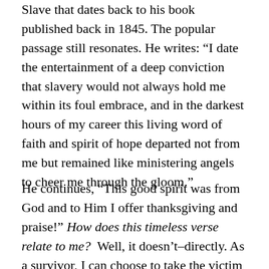Slave that dates back to his book published back in 1845. The popular passage still resonates. He writes: “I date the entertainment of a deep conviction that slavery would not always hold me within its foul embrace, and in the darkest hours of my career this living word of faith and spirit of hope departed not from me but remained like ministering angels to cheer me through the gloom.”
He continues, “This good spirit was from God and to Him I offer thanksgiving and praise!” How does this timeless verse relate to me? Well, it doesn’t–directly. As a survivor, I can choose to take the victim mentality though and not try to accomplish all I know I can. But Douglass stood up for his rights and even taught himself how